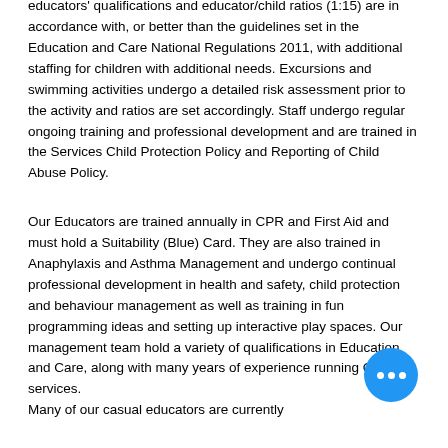educators' qualifications and educator/child ratios (1:15) are in accordance with, or better than the guidelines set in the Education and Care National Regulations 2011, with additional staffing for children with additional needs. Excursions and swimming activities undergo a detailed risk assessment prior to the activity and ratios are set accordingly. Staff undergo regular ongoing training and professional development and are trained in the Services Child Protection Policy and Reporting of Child Abuse Policy.
Our Educators are trained annually in CPR and First Aid and must hold a Suitability (Blue) Card. They are also trained in Anaphylaxis and Asthma Management and undergo continual professional development in health and safety, child protection and behaviour management as well as training in fun programming ideas and setting up interactive play spaces. Our management team hold a variety of qualifications in Education and Care, along with many years of experience running OSHC services.
Many of our casual educators are currently